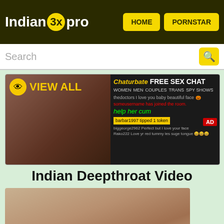Indian 3x pro | HOME | PORNSTAR
Search
[Figure (screenshot): Advertisement banner showing adult content with Chaturbate free sex chat promotion]
Indian Deepthroat Video
[Figure (screenshot): Video thumbnail showing adult content]